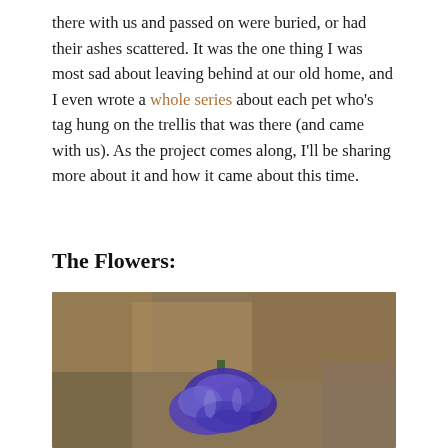there with us and passed on were buried, or had their ashes scattered. It was the one thing I was most sad about leaving behind at our old home, and I even wrote a whole series about each pet who's tag hung on the trellis that was there (and came with us). As the project comes along, I'll be sharing more about it and how it came about this time.
The Flowers:
[Figure (photo): Close-up photo of purple hyacinth flowers blooming from the ground, surrounded by leaf litter and soil. A watermark logo of a dog and cat with red circular text is visible in the upper-left corner of the image.]